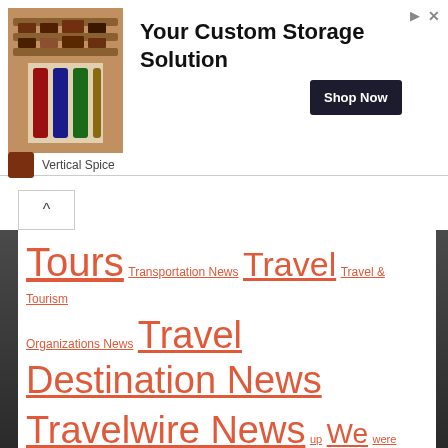[Figure (illustration): Advertisement banner for Vertical Spice showing kitchen spice storage shelves]
Your Custom Storage Solution
Shop Now
Vertical Spice
Tours  Transportation News  Travel  Travel & Tourism
Organizations News  Travel Destination News
Travelwire News  up  We  were  WHO  World
World News  year  years
[Figure (logo): eTurboNews eTN logo in blue and white]